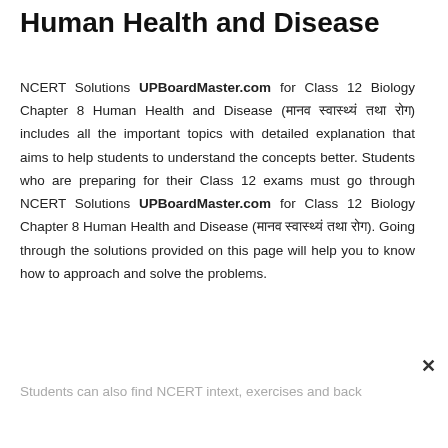Human Health and Disease
NCERT Solutions UPBoardMaster.com for Class 12 Biology Chapter 8 Human Health and Disease (मानव स्वास्थ्य तथा रोग) includes all the important topics with detailed explanation that aims to help students to understand the concepts better. Students who are preparing for their Class 12 exams must go through NCERT Solutions UPBoardMaster.com for Class 12 Biology Chapter 8 Human Health and Disease (मानव स्वास्थ्य तथा रोग). Going through the solutions provided on this page will help you to know how to approach and solve the problems.
Students can also find NCERT intext, exercises and back